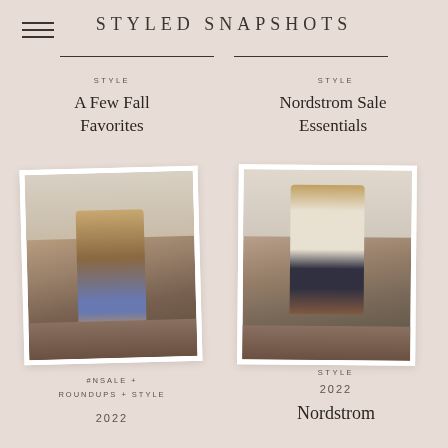STYLED SNAPSHOTS
STYLE
A Few Fall Favorites
STYLE
Nordstrom Sale Essentials
[Figure (photo): Woman in long tan cardigan, white top, and floral jeans taking a mirror selfie in a bedroom]
[Figure (photo): Woman in tan hat, white/beige sweater, dark jeans, and brown boots taking a mirror selfie in a bedroom]
#NSALE + ROUNDUPS + STYLE
2022
STYLE
2022
Nordstrom